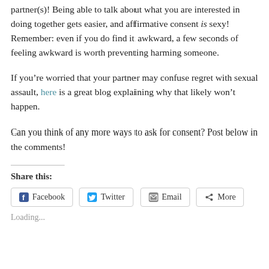partner(s)! Being able to talk about what you are interested in doing together gets easier, and affirmative consent is sexy! Remember: even if you do find it awkward, a few seconds of feeling awkward is worth preventing harming someone.
If you’re worried that your partner may confuse regret with sexual assault, here is a great blog explaining why that likely won’t happen.
Can you think of any more ways to ask for consent? Post below in the comments!
Share this:
Loading...